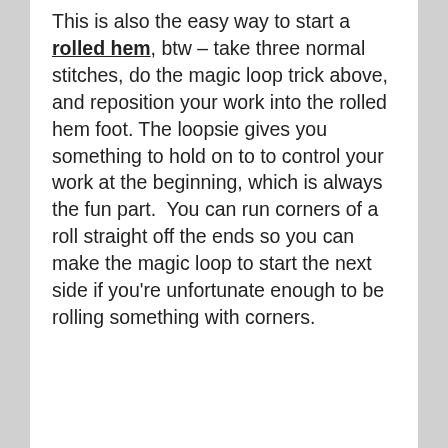This is also the easy way to start a rolled hem, btw – take three normal stitches, do the magic loop trick above, and reposition your work into the rolled hem foot. The loopsie gives you something to hold on to to control your work at the beginning, which is always the fun part.  You can run corners of a roll straight off the ends so you can make the magic loop to start the next side if you're unfortunate enough to be rolling something with corners.